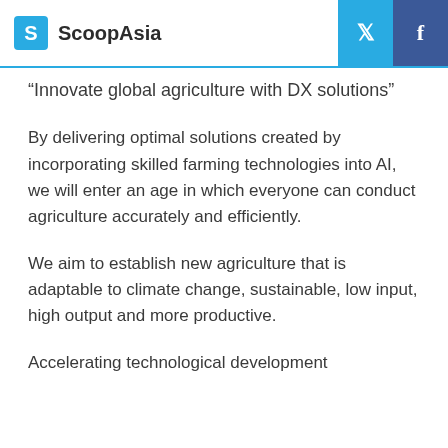ScoopAsia
"Innovate global agriculture with DX solutions"
By delivering optimal solutions created by incorporating skilled farming technologies into AI, we will enter an age in which everyone can conduct agriculture accurately and efficiently.
We aim to establish new agriculture that is adaptable to climate change, sustainable, low input, high output and more productive.
Accelerating technological development